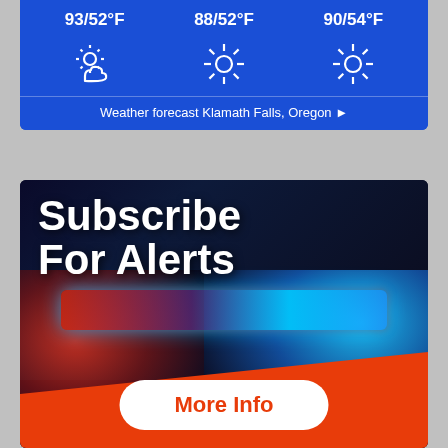[Figure (infographic): Weather forecast widget for Klamath Falls, Oregon showing three day columns with temperatures 93/52°F, 88/52°F, 90/54°F and weather icons (partly cloudy, sunny, sunny) on a blue background]
Weather forecast Klamath Falls, Oregon ▶
[Figure (infographic): Subscribe For Alerts banner with police emergency light bar photo background, orange diagonal wedge at bottom, bold white text reading 'Subscribe For Alerts', and a white button with orange text reading 'More Info']